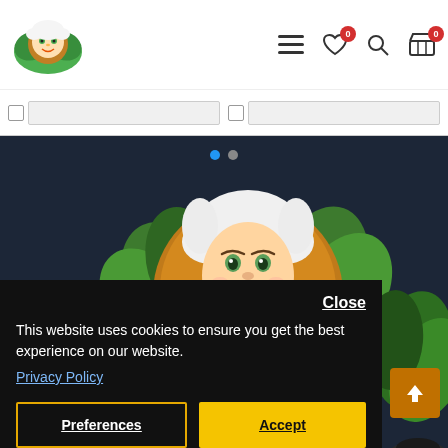[Figure (screenshot): Website header with cartoon monkey/herb logo on the left and navigation icons (hamburger menu, heart wishlist with badge 0, search, cart with badge 0) on the right]
[Figure (screenshot): Dark hero section with illustrated old man character in orange circular frame surrounded by green herbs/leaves, with pagination dots]
This website uses cookies to ensure you get the best experience on our website.
Privacy Policy
Close
Preferences
Accept
Customer Service